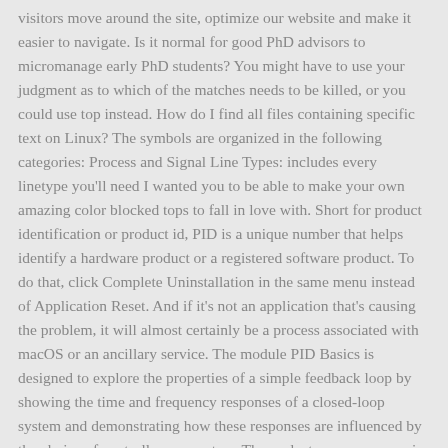visitors move around the site, optimize our website and make it easier to navigate. Is it normal for good PhD advisors to micromanage early PhD students? You might have to use your judgment as to which of the matches needs to be killed, or you could use top instead. How do I find all files containing specific text on Linux? The symbols are organized in the following categories: Process and Signal Line Types: includes every linetype you'll need I wanted you to be able to make your own amazing color blocked tops to fall in love with. Short for product identification or product id, PID is a unique number that helps identify a hardware product or a registered software product. To do that, click Complete Uninstallation in the same menu instead of Application Reset. And if it's not an application that's causing the problem, it will almost certainly be a process associated with macOS or an ancillary service. The module PID Basics is designed to explore the properties of a simple feedback loop by showing the time and frequency responses of a closed-loop system and demonstrating how these responses are influenced by the choice of controller parameters. Then select your username in the left panel and click the Login Items tab. This pattern has both above the bust and below the bust options for the top color block section and sleeve sections. Find the maintenance scripts. Each application on your Mac has an associated Process ID (a PID) and a user-friendly name. It essentially becomes